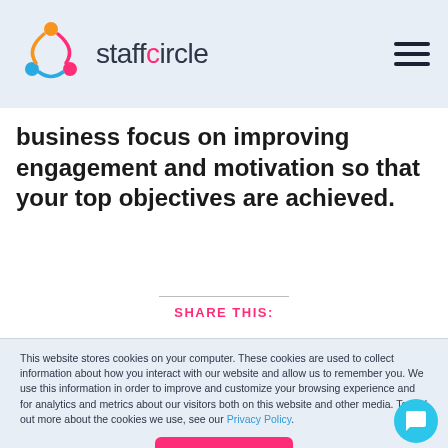staffcircle
business focus on improving engagement and motivation so that your top objectives are achieved.
SHARE THIS:
This website stores cookies on your computer. These cookies are used to collect information about how you interact with our website and allow us to remember you. We use this information in order to improve and customize your browsing experience and for analytics and metrics about our visitors both on this website and other media. To find out more about the cookies we use, see our Privacy Policy.
Accept